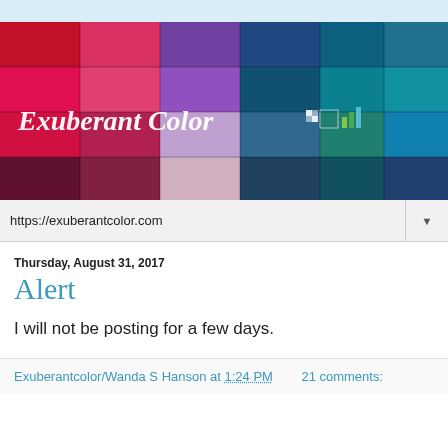[Figure (illustration): Exuberant Color blog banner showing a colorful collage of fabric swatches in reds, pinks, purples, and teals/blues with the blog name 'Exuberant Color' in white italic script on the left side.]
https://exuberantcolor.com
Thursday, August 31, 2017
Alert
I will not be posting for a few days.
Exuberantcolor/Wanda S Hanson at 1:24 PM    21 comments: